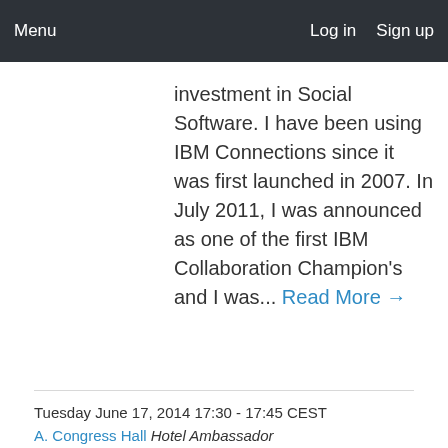Menu   Log in   Sign up
investment in Social Software. I have been using IBM Connections since it was first launched in 2007. In July 2011, I was announced as one of the first IBM Collaboration Champion's and I was... Read More →
Tuesday June 17, 2014 17:30 - 17:45 CEST
A. Congress Hall Hotel Ambassador
Main Tent